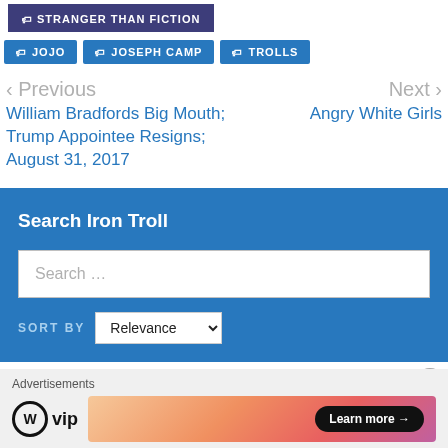STRANGER THAN FICTION
JOJO
JOSEPH CAMP
TROLLS
< Previous
William Bradfords Big Mouth; Trump Appointee Resigns; August 31, 2017
Next >
Angry White Girls
Search Iron Troll
Search ...
SORT BY  Relevance
Advertisements
[Figure (logo): WordPress VIP logo with circle W icon and 'vip' text]
[Figure (infographic): Colorful gradient ad banner with 'Learn more' button]